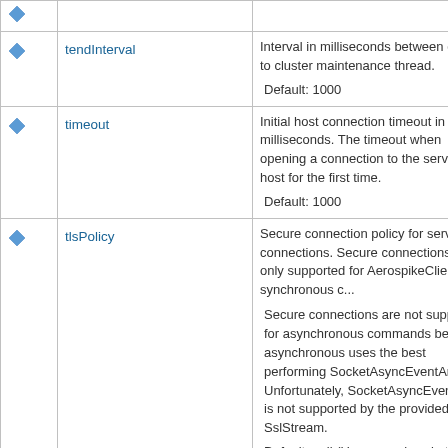|  | Name | Description |
| --- | --- | --- |
| ♦ | tendInterval | Interval in milliseconds between calls to cluster maintenance thread.
Default: 1000 |
| ♦ | timeout | Initial host connection timeout in milliseconds. The timeout when opening a connection to the server host for the first time.
Default: 1000 |
| ♦ | tlsPolicy | Secure connection policy for server connections. Secure connections are only supported for AerospikeClient synchronous commands.
Secure connections are not supported for asynchronous commands because asynchronous uses the best performing SocketAsyncEventArgs. Unfortunately, SocketAsyncEventArgs is not supported by the provided SslStream.
Default: null (Use normal sockets) |
| ♦ | user | User authentication to cluster. Leave null for clusters running without restricted access.
Default: null |
| ♦ | useServicesAlternate | Should use "services-alternate" instead of "services" in info request during cluster tend. |